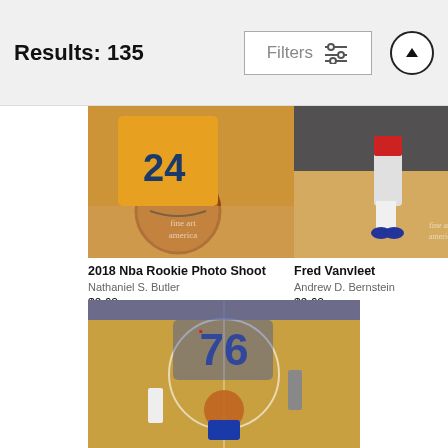Results: 135
[Figure (screenshot): Filters button with sliders icon and an up-arrow circle button]
[Figure (photo): Basketball player in Utah Jazz #24 jersey holding a Spalding basketball, 2018 NBA Rookie Photo Shoot]
2018 Nba Rookie Photo Shoot
Nathaniel S. Butler
$9.62
[Figure (photo): Fred VanVleet legs/feet on basketball court with spectators in background, watermark 'fine art america']
Fred Vanvleet
Andrew D. Bernstein
$9.62
[Figure (photo): Aerial/overhead view of Philadelphia 76ers basketball game, players driving to the basket with the 76ers logo on court]